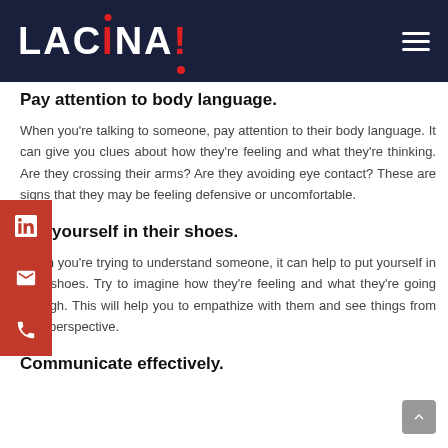LACINA!
Pay attention to body language.
When you’re talking to someone, pay attention to their body language. It can give you clues about how they’re feeling and what they’re thinking. Are they crossing their arms? Are they avoiding eye contact? These are signs that they may be feeling defensive or uncomfortable.
Put yourself in their shoes.
When you’re trying to understand someone, it can help to put yourself in their shoes. Try to imagine how they’re feeling and what they’re going through. This will help you to empathize with them and see things from their perspective.
Communicate effectively.